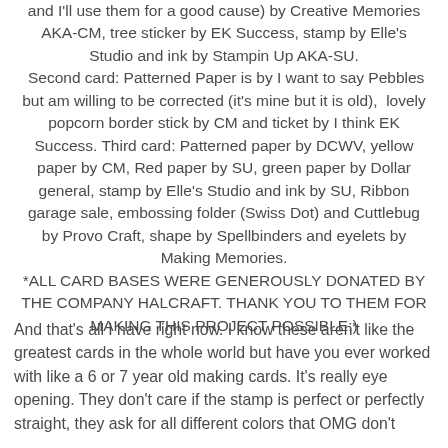and I'll use them for a good cause) by Creative Memories AKA-CM, tree sticker by EK Success, stamp by Elle's Studio and ink by Stampin Up AKA-SU.
 Second card: Patterned Paper is by I want to say Pebbles but am willing to be corrected (it's mine but it is old),  lovely popcorn border stick by CM and ticket by I think EK Success. Third card: Patterned paper by DCWV, yellow paper by CM, Red paper by SU, green paper by Dollar general, stamp by Elle's Studio and ink by SU, Ribbon garage sale, embossing folder (Swiss Dot) and Cuttlebug by Provo Craft, shape by Spellbinders and eyelets by Making Memories. *ALL CARD BASES WERE GENEROUSLY DONATED BY THE COMPANY HALCRAFT. THANK YOU TO THEM FOR MAKING THIS PROJECT POSSIBLE:)
And that's all I have right now. I know these aren't like the greatest cards in the whole world but have you ever worked with like a 6 or 7 year old making cards. It's really eye opening. They don't care if the stamp is perfect or perfectly straight, they ask for all different colors that OMG don't